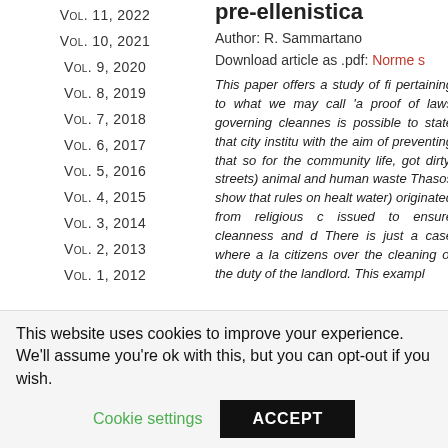Vol. 11, 2022
Vol. 10, 2021
Vol. 9, 2020
Vol. 8, 2019
Vol. 7, 2018
Vol. 6, 2017
Vol. 5, 2016
Vol. 4, 2015
Vol. 3, 2014
Vol. 2, 2013
Vol. 1, 2012
pre-ellenistica
Author: R. Sammartano
Download article as .pdf: Norme s
This paper offers a study of fi pertaining to what we may call 'a proof of laws governing cleannes is possible to state that city institu with the aim of preventing that so for the community life, got dirty. streets) animal and human waste Thasos show that rules on healt water) originated from religious c issued to ensure cleanness and d There is just a case where a la citizens over the cleaning of the duty of the landlord. This exampl
This website uses cookies to improve your experience. We'll assume you're ok with this, but you can opt-out if you wish.
Cookie settings
ACCEPT